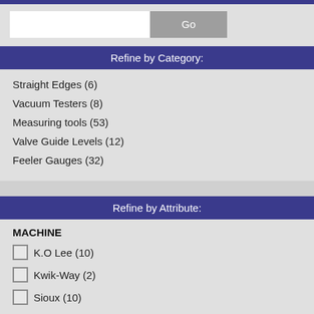[Figure (screenshot): Search bar with text input field and Go button]
Refine by Category:
Straight Edges (6)
Vacuum Testers (8)
Measuring tools (53)
Valve Guide Levels (12)
Feeler Gauges (32)
Refine by Attribute:
MACHINE
K.O Lee (10)
Kwik-Way (2)
Sioux (10)
Refine by Attributes